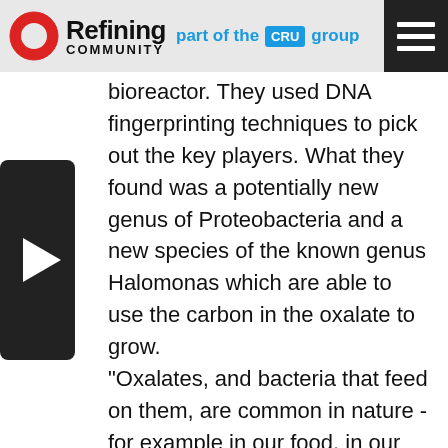Refining COMMUNITY — part of the CRU group
[Figure (other): Video player area with play button triangle on dark background]
bioreactor. They used DNA fingerprinting techniques to pick out the key players. What they found was a potentially new genus of Proteobacteria and a new species of the known genus Halomonas which are able to use the carbon in the oxalate to grow. “Oxalates, and bacteria that feed on them, are common in nature -for example in our food, in our guts and in the root systems of plants such as rhubarb,” says